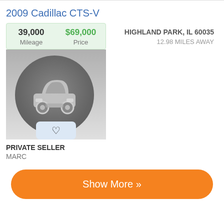2009 Cadillac CTS-V
| Mileage | Price |
| --- | --- |
| 39,000 | $69,000 |
[Figure (illustration): Placeholder car image with a front-view car silhouette in a gray circle on a gray gradient background, with a heart/favorite icon button below]
HIGHLAND PARK, IL 60035
12.98 MILES AWAY
PRIVATE SELLER
MARC
Show More »
Cars & Trucks Sale by Owner
Car Dealerships